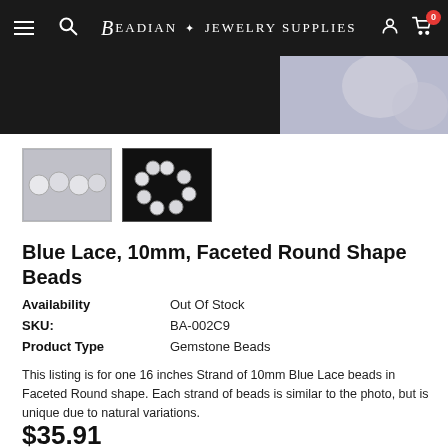Beadian · Jewelry Supplies
[Figure (photo): Product image strip showing blue lace beads on dark background]
[Figure (photo): Thumbnail 1: close-up of white/grey round beads on a strand]
[Figure (photo): Thumbnail 2: circular arrangement of white beads on black background]
Blue Lace, 10mm, Faceted Round Shape Beads
| Availability | Out Of Stock |
| SKU: | BA-002C9 |
| Product Type | Gemstone Beads |
This listing is for one 16 inches Strand of 10mm Blue Lace beads in Faceted Round shape. Each strand of beads is similar to the photo, but is unique due to natural variations.
$35.91